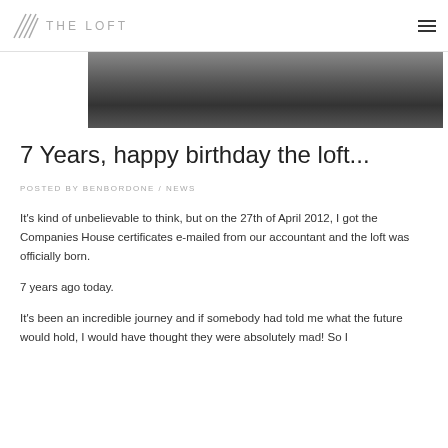THE LOFT
[Figure (photo): Black and white dark textured hero image, partially visible at top of page]
7 Years, happy birthday the loft...
POSTED BY BENBORDONE / NEWS
It's kind of unbelievable to think, but on the 27th of April 2012, I got the Companies House certificates e-mailed from our accountant and the loft was officially born.
7 years ago today.
It's been an incredible journey and if somebody had told me what the future would hold, I would have thought they were absolutely mad! So I